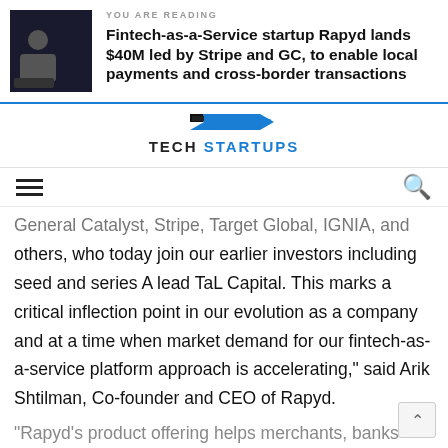YOU ARE READING
Fintech-as-a-Service startup Rapyd lands $40M led by Stripe and GC, to enable local payments and cross-border transactions
[Figure (logo): Tech Startups logo with blue arrow/chevron graphic above bold text TECH STARTUPS]
General Catalyst, Stripe, Target Global, IGNIA, and others, who today join our earlier investors including seed and series A lead TaL Capital. This marks a critical inflection point in our evolution as a company and at a time when market demand for our fintech-as-a-service platform approach is accelerating," said Arik Shtilman, Co-founder and CEO of Rapyd.
"Rapyd's product offering helps merchants, banks